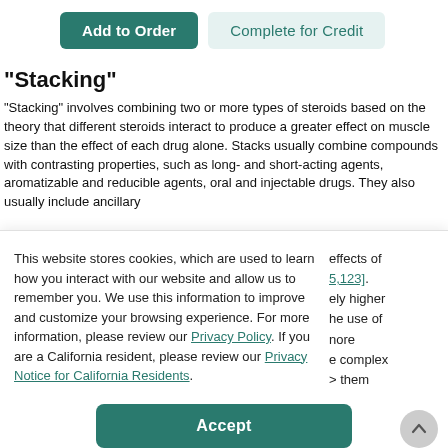[Figure (screenshot): Two buttons: 'Add to Order' (teal filled) and 'Complete for Credit' (light teal/gray outlined)]
"Stacking"
"Stacking" involves combining two or more types of steroids based on the theory that different steroids interact to produce a greater effect on muscle size than the effect of each drug alone. Stacks usually combine compounds with contrasting properties, such as long- and short-acting agents, aromatizable and reducible agents, oral and injectable drugs. They also usually include ancillary effects of [5,123]. ely higher he use of more e complex them
This website stores cookies, which are used to learn how you interact with our website and allow us to remember you. We use this information to improve and customize your browsing experience. For more information, please review our Privacy Policy. If you are a California resident, please review our Privacy Notice for California Residents.
[Figure (screenshot): Accept button (teal) and scroll-to-top button (gray circle with up arrow)]